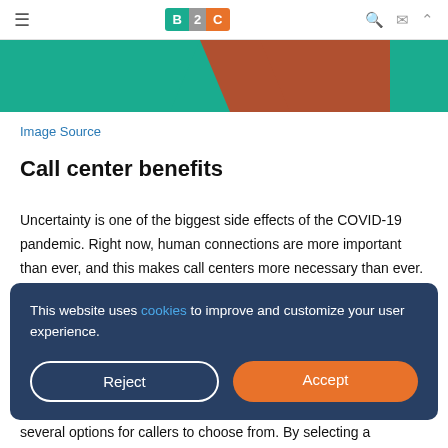≡  B2C  🔍 ✉ ∧
[Figure (photo): Partial banner image showing teal/green and orange/brown color blocks]
Image Source
Call center benefits
Uncertainty is one of the biggest side effects of the COVID-19 pandemic. Right now, human connections are more important than ever, and this makes call centers more necessary than ever. Solving complicated queries over the
This website uses cookies to improve and customize your user experience.
several options for callers to choose from. By selecting a